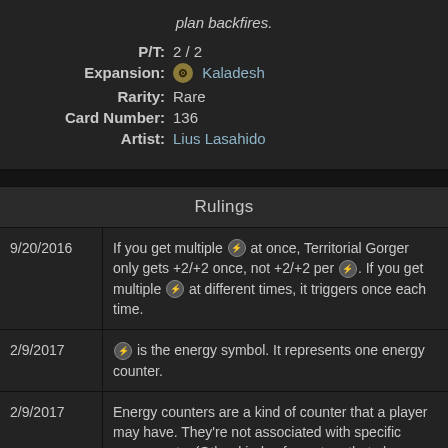plan backfires.
P/T: 2 / 2
Expansion: Kaladesh
Rarity: Rare
Card Number: 136
Artist: Lius Lasahido
Rulings
| Date | Ruling |
| --- | --- |
| 9/20/2016 | If you get multiple ⚡ at once, Territorial Gorger only gets +2/+2 once, not +2/+2 per ⚡. If you get multiple ⚡ at different times, it triggers once each time. |
| 2/9/2017 | ⚡ is the energy symbol. It represents one energy counter. |
| 2/9/2017 | Energy counters are a kind of counter that a player may have. They're not associated with specific permanents. (Other kinds of counters that players may have include poison and experience.) |
| 2/9/2017 | Keep careful track of how many energy counters each player has. You may do so by keeping a running count on paper, by |